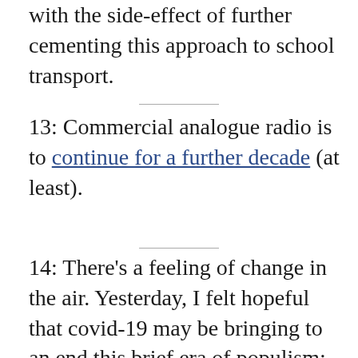with the side-effect of further cementing this approach to school transport.
13: Commercial analogue radio is to continue for a further decade (at least).
14: There's a feeling of change in the air. Yesterday, I felt hopeful that covid-19 may be bringing to an end this brief era of populism: it seemed plausible that the crisis might sweep